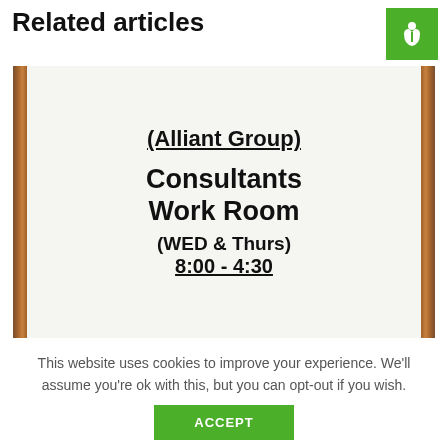Related articles
[Figure (photo): A whiteboard sign on an easel with wooden frame reading: (Alliant Group) Consultants Work Room (WED & Thurs) 8:00-4:30]
This website uses cookies to improve your experience. We'll assume you're ok with this, but you can opt-out if you wish.
ACCEPT